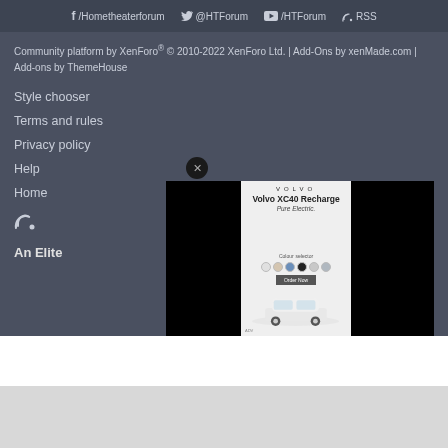/Hometheaterforum | @HTForum | /HTForum | RSS
Community platform by XenForo® © 2010-2022 XenForo Ltd. | Add-Ons by xenMade.com | Add-ons by ThemeHouse
Style chooser
Terms and rules
Privacy policy
Help
Home
RSS icon
An Elite
[Figure (screenshot): Volvo XC40 Recharge Pure Electric advertisement overlay showing car image, color swatches, and order button]